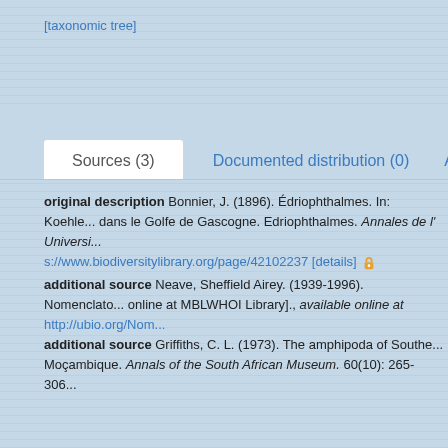[taxonomic tree]
Sources (3)    Documented distribution (0)    Attributes (4)
original description Bonnier, J. (1896). Édriophthalmes. In: Koehle... dans le Golfe de Gascogne. Edriophthalmes. Annales de l' Universi... s://www.biodiversitylibrary.org/page/42102237 [details]
additional source Neave, Sheffield Airey. (1939-1996). Nomenclato... online at MBLWHOI Library]., available online at http://ubio.org/Nom...
additional source Griffiths, C. L. (1973). The amphipoda of Southe... Moçambique. Annals of the South African Museum. 60(10): 265-306...